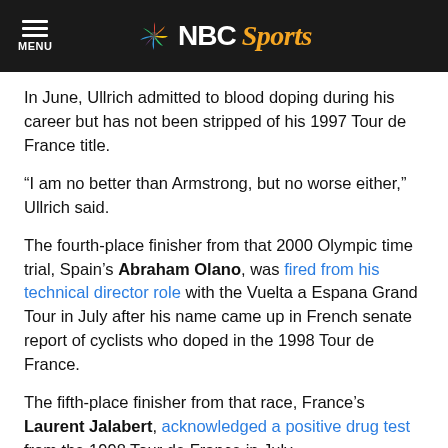NBC Sports
In June, Ullrich admitted to blood doping during his career but has not been stripped of his 1997 Tour de France title.
“I am no better than Armstrong, but no worse either,” Ullrich said.
The fourth-place finisher from that 2000 Olympic time trial, Spain’s Abraham Olano, was fired from his technical director role with the Vuelta a Espana Grand Tour in July after his name came up in French senate report of cyclists who doped in the 1998 Tour de France.
The fifth-place finisher from that race, France’s Laurent Jalabert, acknowledged a positive drug test from the 1998 Tour de France in July.